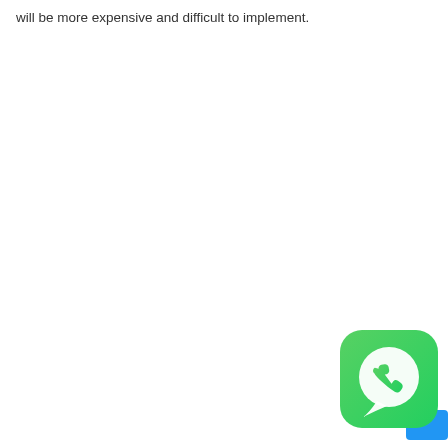will be more expensive and difficult to implement.
[Figure (logo): WhatsApp app icon — rounded green square with gradient (dark green to bright green), white speech bubble with phone handset inside, and a small blue square partially visible at bottom-right corner.]